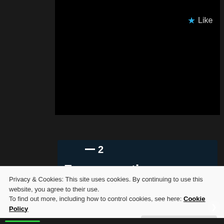[Figure (screenshot): Dark website UI with a black video/content block and a star Like button in teal/blue color]
[Figure (screenshot): Dark navy advertisement block for a productivity app with logo 'T2', headline 'Fewer meetings, more work.' and a 'Get started for free' button]
Privacy & Cookies: This site uses cookies. By continuing to use this website, you agree to their use.
To find out more, including how to control cookies, see here: Cookie Policy